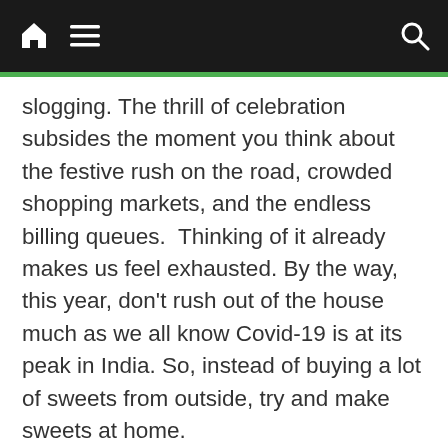Navigation bar with home, menu, and search icons
slogging. The thrill of celebration subsides the moment you think about the festive rush on the road, crowded shopping markets, and the endless billing queues.  Thinking of it already makes us feel exhausted. By the way, this year, don’t rush out of the house much as we all know Covid-19 is at its peak in India. So, instead of buying a lot of sweets from outside, try and make sweets at home.